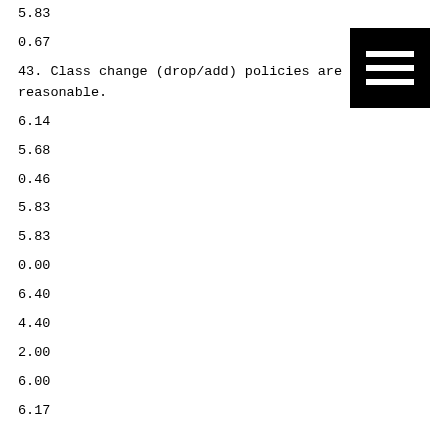5.83
0.67
43. Class change (drop/add) policies are reasonable.
6.14
5.68
0.46
5.83
5.83
0.00
6.40
4.40
2.00
6.00
6.17
[Figure (other): Black square icon with three horizontal white lines (hamburger/menu icon)]